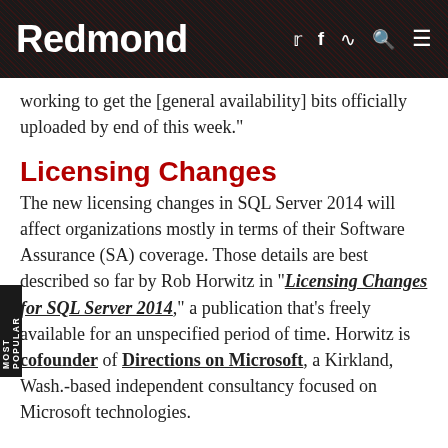Redmond
working to get the [general availability] bits officially uploaded by end of this week."
Licensing Changes
The new licensing changes in SQL Server 2014 will affect organizations mostly in terms of their Software Assurance (SA) coverage. Those details are best described so far by Rob Horwitz in "Licensing Changes for SQL Server 2014," a publication that's freely available for an unspecified period of time. Horwitz is cofounder of Directions on Microsoft, a Kirkland, Wash.-based independent consultancy focused on Microsoft technologies.
SQL Server 2014 has the same editions and pricing as SQL Server 2012, according to Horwitz. He cited